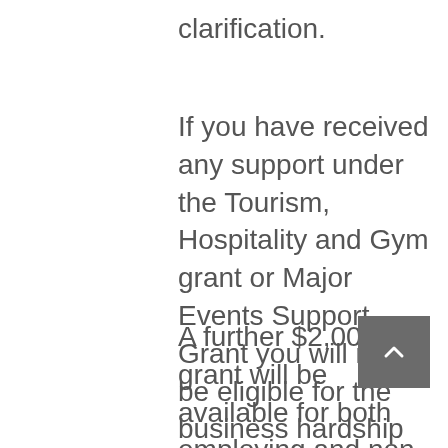clarification.
If you have received any support under the Tourism, Hospitality and Gym grant or Major Events Support Grant you will not be eligible for the business hardship grant.
A further $2,000 grant will be available for both employing and non-employing eligible businesses with a commercial premises in the Adelaide CBD. To be eligible, the relevant business must have operated from a commercial premises with the postcode 5000.